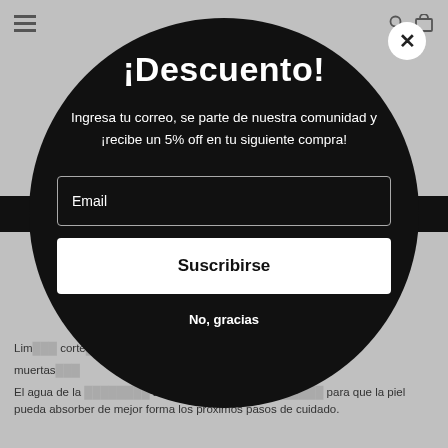[Figure (screenshot): Website popup modal over a gray background page. The page shows a hamburger menu icon on the top left, search and cart icons top right. Body text is partially visible. A large dark circular modal overlay contains: title '¡Descuento!', descriptive text about email subscription for 5% off, an email input field, a 'Suscribirse' (Subscribe) button, and a 'No, gracias' link. A white circle close button (X) is in the top right corner of the viewport.]